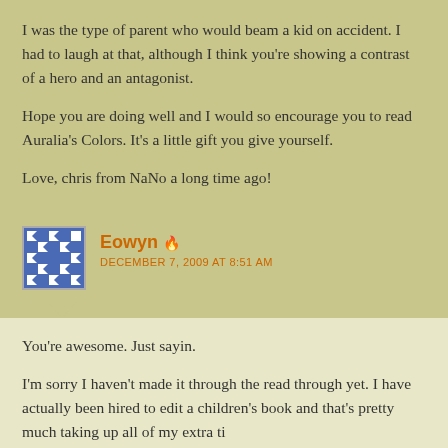I was the type of parent who would beam a kid on accident. I had to laugh at that, although I think you're showing a contrast of a hero and an antagonist.
Hope you are doing well and I would so encourage you to read Auralia's Colors. It's a little gift you give yourself.
Love, chris from NaNo a long time ago!
Eowyn
DECEMBER 7, 2009 AT 8:51 AM
You're awesome. Just sayin.
I'm sorry I haven't made it through the read through yet. I have actually been hired to edit a children's book and that's pretty much taking up all of my extra ti...